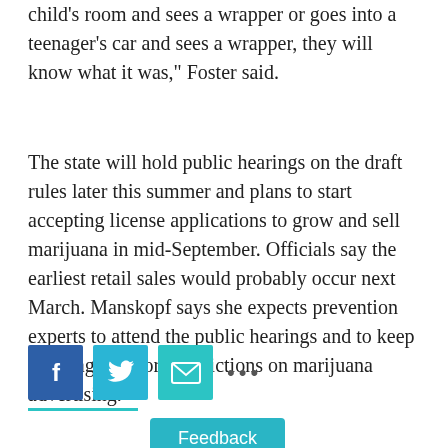child's room and sees a wrapper or goes into a teenager's car and sees a wrapper, they will know what it was," Foster said.
The state will hold public hearings on the draft rules later this summer and plans to start accepting license applications to grow and sell marijuana in mid-September. Officials say the earliest retail sales would probably occur next March. Manskopf says she expects prevention experts to attend the public hearings and to keep pressing for more restrictions on marijuana advertising.
[Figure (infographic): Social sharing buttons: Facebook (blue square with f icon), Twitter (cyan square with bird icon), Email (teal square with envelope icon), and a more options ellipsis (...)]
Feedback